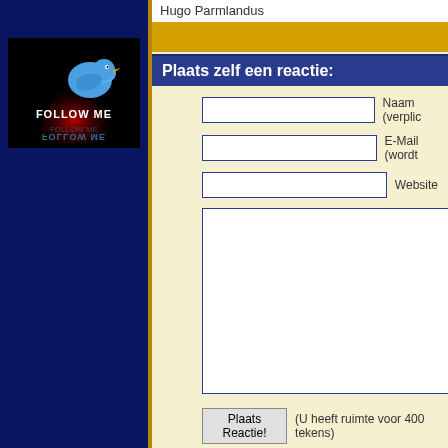Hugo Parmlandus
[Figure (illustration): Twitter Follow Me image with blue bird on dark background with red light effect and text FOLLOW ME]
Plaats zelf een reactie:
Naam (verplic
E-Mail (wordt
Website
Plaats Reactie! (U heeft ruimte voor 400 tekens)